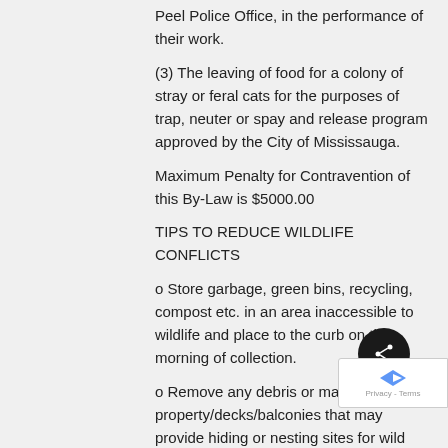Peel Police Office, in the performance of their work.
(3) The leaving of food for a colony of stray or feral cats for the purposes of trap, neuter or spay and release program approved by the City of Mississauga.
Maximum Penalty for Contravention of this By-Law is $5000.00
TIPS TO REDUCE WILDLIFE CONFLICTS
o Store garbage, green bins, recycling, compost etc. in an area inaccessible to wildlife and place to the curb on the morning of collection.
o Remove any debris or materials from property/decks/balconies that may provide hiding or nesting sites for wild animals or rodents.
o Conduct a spring and fall exterior home inspection to ensure shingles, eaves, soffit, facia, vents etc. are in good repair.